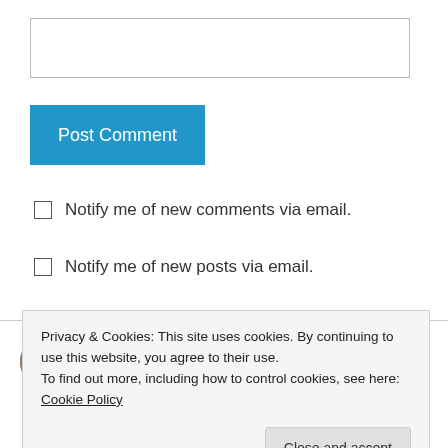[Figure (other): Text input box (comment form field)]
Post Comment
Notify me of new comments via email.
Notify me of new posts via email.
kim on July 22, 2011 at 10:15 pm
Privacy & Cookies: This site uses cookies. By continuing to use this website, you agree to their use.
To find out more, including how to control cookies, see here: Cookie Policy
Close and accept